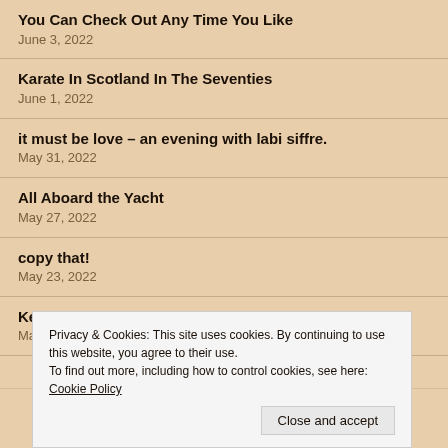You Can Check Out Any Time You Like
June 3, 2022
Karate In Scotland In The Seventies
June 1, 2022
it must be love – an evening with labi siffre.
May 31, 2022
All Aboard the Yacht
May 27, 2022
copy that!
May 23, 2022
Keep Me From The Gallus Poll.
May 20, 2022
Privacy & Cookies: This site uses cookies. By continuing to use this website, you agree to their use.
To find out more, including how to control cookies, see here: Cookie Policy
Close and accept